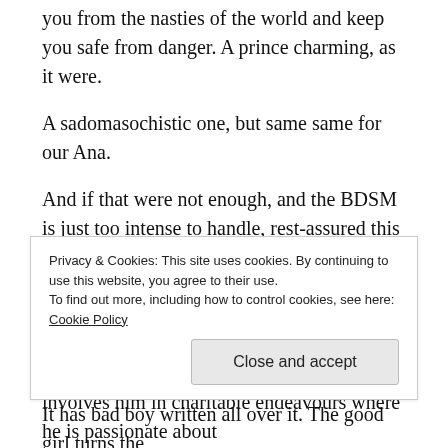you from the nasties of the world and keep you safe from danger. A prince charming, as it were.
A sadomasochistic one, but same same for our Ana.
And if that were not enough, and the BDSM is just too intense to handle, rest-assured this multi-millionaire CEO did not get to the top by swindling money and thinking only of the top dollar – though he admits to Ana at one point that he makes roughly one hundred thousand dollars AN HOUR – his work also involves him in charitable endeavours where he is passionate about
Privacy & Cookies: This site uses cookies. By continuing to use this website, you agree to their use.
To find out more, including how to control cookies, see here: Cookie Policy
Close and accept
It has bad boy written all over it. The good girl turns the